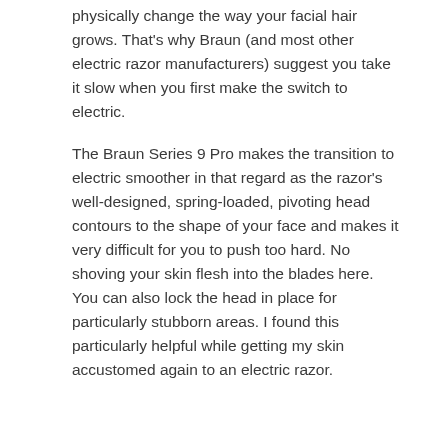physically change the way your facial hair grows. That's why Braun (and most other electric razor manufacturers) suggest you take it slow when you first make the switch to electric.
The Braun Series 9 Pro makes the transition to electric smoother in that regard as the razor's well-designed, spring-loaded, pivoting head contours to the shape of your face and makes it very difficult for you to push too hard. No shoving your skin flesh into the blades here. You can also lock the head in place for particularly stubborn areas. I found this particularly helpful while getting my skin accustomed again to an electric razor.